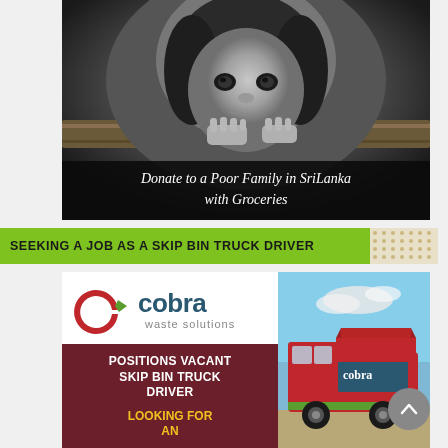[Figure (photo): Black and white close-up photograph of a young child resting chin on a wooden fence or beam, looking directly at camera. Caption overlay reads 'Donate to a Poor Family in SriLanka with Groceries'.]
Donate to a Poor Family in SriLanka with Groceries
SEEKING A JOB AS A SKIP BIN TRUCK DRIVER
[Figure (logo): Cobra Waste Solutions logo — red and green C-shaped icon with the word 'cobra' in large dark teal letters and 'waste solutions' below in smaller grey text.]
POSITIONS VACANT SKIP BIN TRUCK DRIVER
LOOKING FOR AN
[Figure (photo): Photograph of a red Cobra-branded skip bin truck parked outdoors under a partly cloudy sky.]